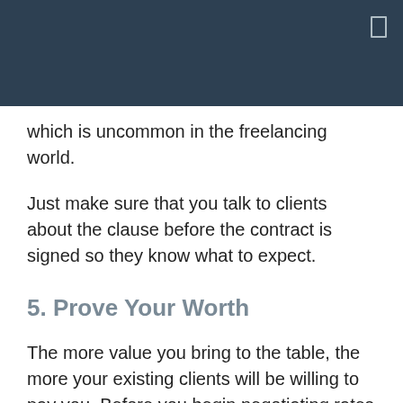which is uncommon in the freelancing world.
Just make sure that you talk to clients about the clause before the contract is signed so they know what to expect.
5. Prove Your Worth
The more value you bring to the table, the more your existing clients will be willing to pay you. Before you begin negotiating rates with a current client, make sure you've successfully demonstrated your skills and abilities. If you haven't worked with a client long enough to prove